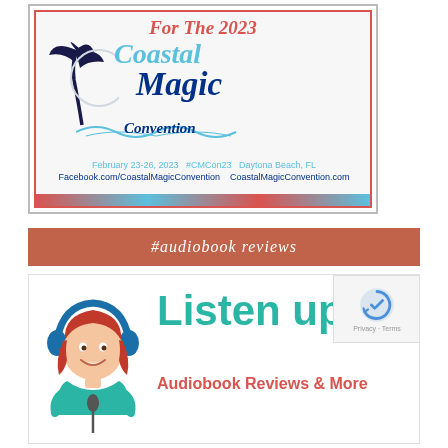[Figure (illustration): Coastal Magic Convention 2023 promotional banner. Red border box with light background. Text reads 'For The 2023 Coastal Magic Convention' with a palm tree illustration and wave/book design. Details: February 23-26, 2023 #CMCon23 Daytona Beach, FL Facebook.com/CoastalMagicConvention CoastalMagicConvention.com]
#audiobook reviews
[Figure (logo): Listen Up! Audiobook Reviews & More logo. Features an animated girl with red hair and blue headphones on the left. Large teal text reads 'Listen up!' with an exclamation mark. Below in red/orange text: 'Audiobook Reviews & More']